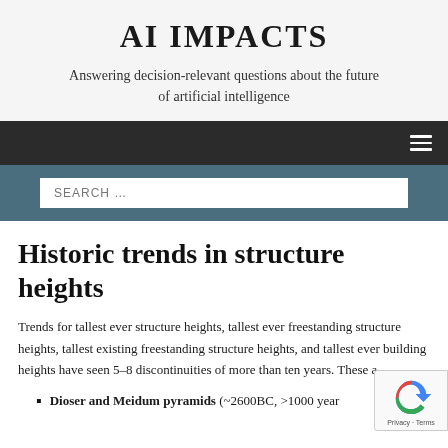AI IMPACTS
Answering decision-relevant questions about the future of artificial intelligence
Historic trends in structure heights
Trends for tallest ever structure heights, tallest ever freestanding structure heights, tallest existing freestanding structure heights, and tallest ever building heights have seen 5–8 discontinuities of more than ten years. These a
Dioser and Meidum pyramids (~2600BC, >1000 year